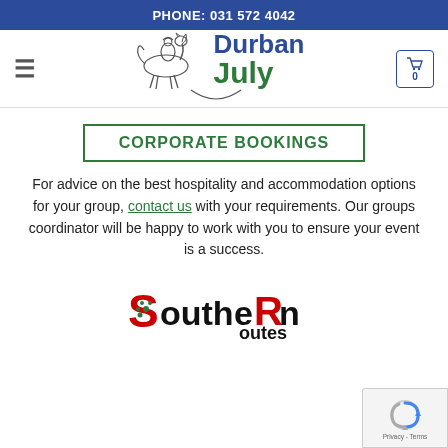PHONE: 031 572 4042
[Figure (logo): Durban July logo with horse and rider illustration, text 'Durban July' in blue and green]
CORPORATE BOOKINGS
For advice on the best hospitality and accommodation options for your group, contact us with your requirements. Our groups coordinator will be happy to work with you to ensure your event is a success.
[Figure (logo): Southern Routes logo in red and black text with green sunburst on the S]